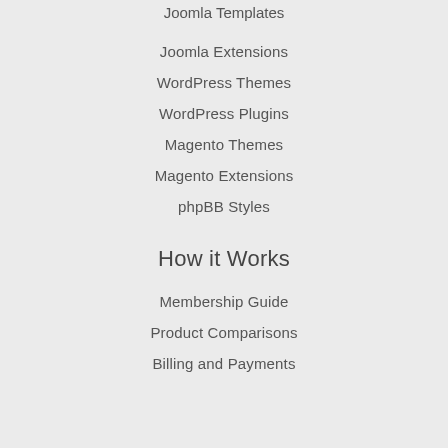Joomla Templates
Joomla Extensions
WordPress Themes
WordPress Plugins
Magento Themes
Magento Extensions
phpBB Styles
How it Works
Membership Guide
Product Comparisons
Billing and Payments